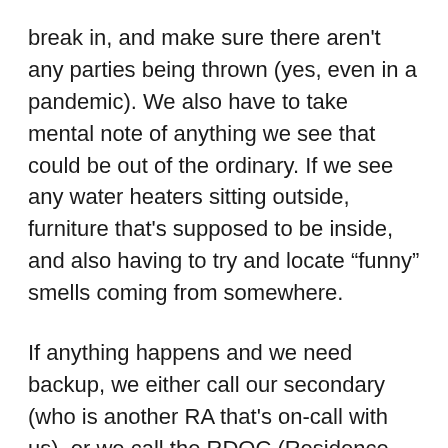break in, and make sure there aren't any parties being thrown (yes, even in a pandemic). We also have to take mental note of anything we see that could be out of the ordinary. If we see any water heaters sitting outside, furniture that's supposed to be inside, and also having to try and locate “funny” smells coming from somewhere.
If anything happens and we need backup, we either call our secondary (who is another RA that's on-call with us), or we call the RDOC (Residence Director On-Call). The secondary usually gets called if the RA on-call is uncomfortable handling a noise complaint or can't locate the “funny” smell. The RDOC gets called if the University Police Department is on site, if we're handling a situation and don't know what to do, or updating them on a situation that we've handled.